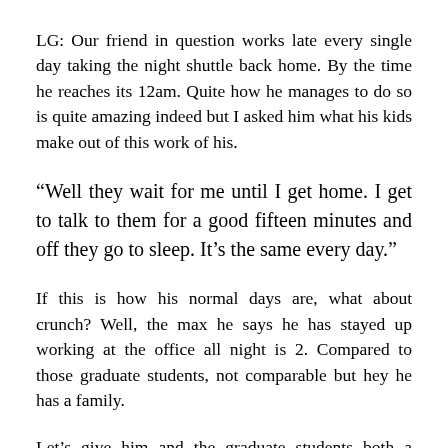LG: Our friend in question works late every single day taking the night shuttle back home. By the time he reaches its 12am. Quite how he manages to do so is quite amazing indeed but I asked him what his kids make out of this work of his.
“Well they wait for me until I get home. I get to talk to them for a good fifteen minutes and off they go to sleep. It’s the same every day.”
If this is how his normal days are, what about crunch? Well, the max he says he has stayed up working at the office all night is 2. Compared to those graduate students, not comparable but hey he has a family.
Let’s give him and the graduate students both a break. And none, there’s no kitlist involved here.